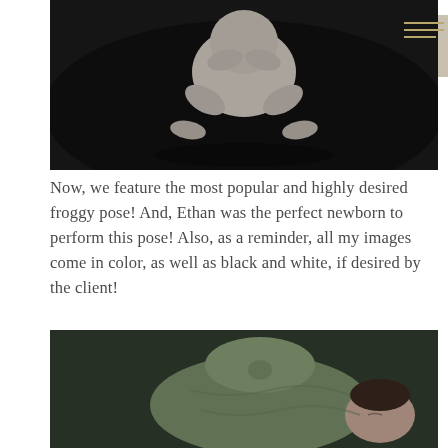[Figure (photo): Black and white photograph of a newborn baby in froggy pose, lying on their stomach with chin resting on hands, on a dark textured background.]
Now, we feature the most popular and highly desired froggy pose! And, Ethan was the perfect newborn to perform this pose! Also, as a reminder, all my images come in color, as well as black and white, if desired by the client!
[Figure (photo): Color photograph of a sleeping newborn baby wrapped in a sage green swaddle with a large bow, lying on a dark green background.]